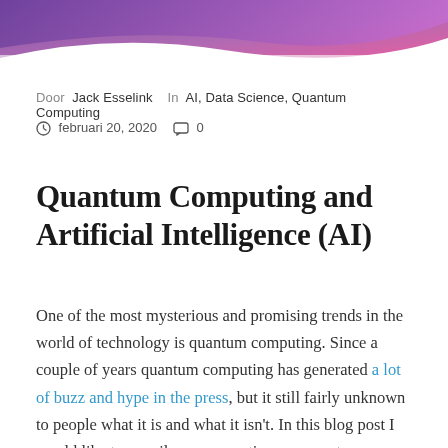[Figure (illustration): Decorative header banner with purple and pink wave/curve shapes on white background]
Door Jack Esselink In AI, Data Science, Quantum Computing
februari 20, 2020  0
Quantum Computing and Artificial Intelligence (AI)
One of the most mysterious and promising trends in the world of technology is quantum computing. Since a couple of years quantum computing has generated a lot of buzz and hype in the press, but it still fairly unknown to people what it is and what it isn't. In this blog post I would like to unveil my perspectives on quantum